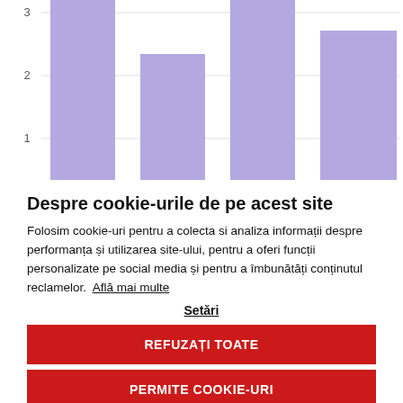[Figure (bar-chart): Partial bar chart visible at top of page showing purple/lavender bars with y-axis labels 1, 2, 3]
Despre cookie-urile de pe acest site
Folosim cookie-uri pentru a colecta si analiza informații despre performanța și utilizarea site-ului, pentru a oferi funcții personalizate pe social media și pentru a îmbunătăți conținutul reclamelor.  Află mai multe
Setări
REFUZAȚI TOATE
PERMITE COOKIE-URI